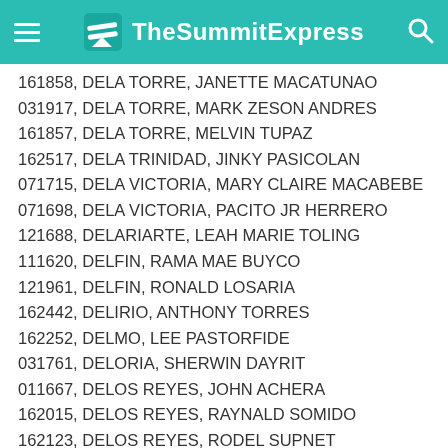TheSummitExpress
161858, DELA TORRE, JANETTE MACATUNAO
031917, DELA TORRE, MARK ZESON ANDRES
161857, DELA TORRE, MELVIN TUPAZ
162517, DELA TRINIDAD, JINKY PASICOLAN
071715, DELA VICTORIA, MARY CLAIRE MACABEBE
071698, DELA VICTORIA, PACITO JR HERRERO
121688, DELARIARTE, LEAH MARIE TOLING
111620, DELFIN, RAMA MAE BUYCO
121961, DELFIN, RONALD LOSARIA
162442, DELIRIO, ANTHONY TORRES
162252, DELMO, LEE PASTORFIDE
031761, DELORIA, SHERWIN DAYRIT
011667, DELOS REYES, JOHN ACHERA
162015, DELOS REYES, RAYNALD SOMIDO
162123, DELOS REYES, RODEL SUPNET
401524, DELOS SANTOS, AIZA AQUINO
021698, DELOS SANTOS, ANALYN GARPIO